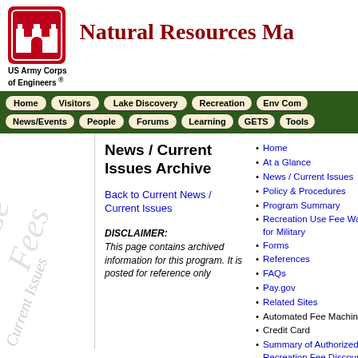[Figure (logo): US Army Corps of Engineers castle logo in red square]
Natural Resources Ma
US Army Corps of Engineers ®
[Figure (other): Green navigation bar with nav buttons: Home, Visitors, Lake Discovery, Recreation, Env Com, News/Events, People, Forums, Learning, GETS, Tools]
[Figure (other): Watermark text 'Use Fees Current Issues' rotated on sidebar]
News / Current Issues Archive
Back to Current News / Current Issues
DISCLAIMER: This page contains archived information for this program. It is posted for reference only
Home
At a Glance
News / Current Issues
Policy & Procedures
Program Summary
Recreation Use Fee Waiver for Military
Forms
References
FAQs
Pay.gov
Related Sites
Automated Fee Machine
Credit Card
Summary of Authorized Recreation Fee Discount Passes